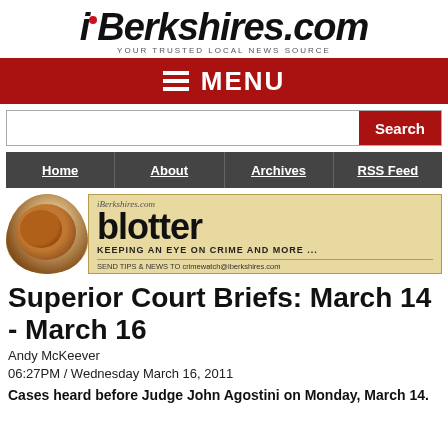iBerkshires.com — YOUR TRUSTED LOCAL NEWS SOURCE
[Figure (screenshot): iBerkshires.com navigation menu bar (red background) with hamburger icon and MENU text]
[Figure (screenshot): Search bar with white input field and red Search button]
[Figure (screenshot): Navigation bar with Home, About, Archives, RSS Feed links on dark grey background]
[Figure (illustration): iBerkshires.com blotter banner with coffee cup on left and blotter title text on parchment background: 'KEEPING AN EYE ON CRIME AND MORE ... SEND TIPS & NEWS TO crimewatch@iberkshires.com']
Superior Court Briefs: March 14 - March 16
Andy McKeever
06:27PM / Wednesday March 16, 2011
Cases heard before Judge John Agostini on Monday, March 14.